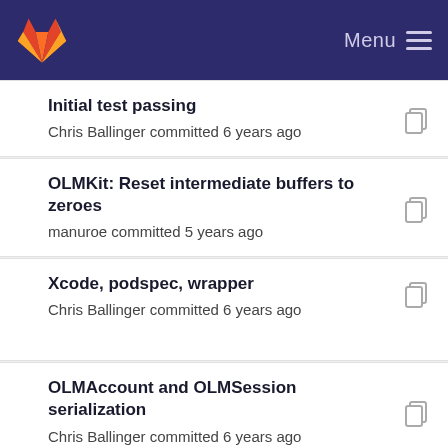Menu
Initial test passing
Chris Ballinger committed 6 years ago
OLMKit: Reset intermediate buffers to zeroes
manuroe committed 5 years ago
Xcode, podspec, wrapper
Chris Ballinger committed 6 years ago
OLMAccount and OLMSession serialization
Chris Ballinger committed 6 years ago
OLMKit: Fixed warnings in objc wrapper
manuroe committed 5 years ago